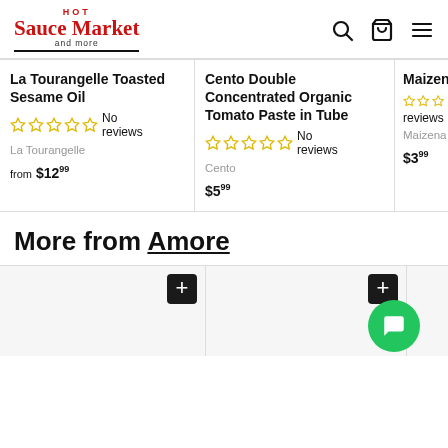[Figure (logo): Hot Sauce Market and more logo with red text and black underline]
La Tourangelle Toasted Sesame Oil No reviews La Tourangelle from $12.99
Cento Double Concentrated Organic Tomato Paste in Tube No reviews Cento $5.99
Maizena reviews Maizena $3.99
More from Amore
[Figure (screenshot): Two partial product cards with + add buttons and a green chat bubble icon visible]